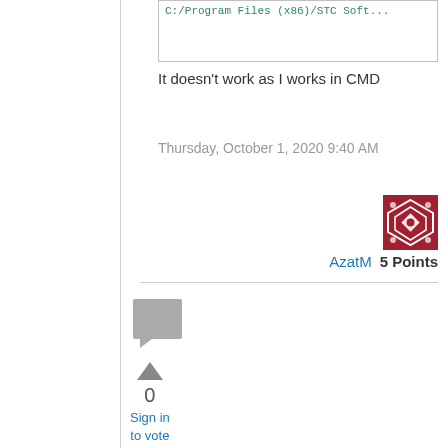[Figure (screenshot): Code box showing partial file path text in green: C:/Program Files (x86)/STC Soft...]
It doesn't work as I works in CMD
Thursday, October 1, 2020 9:40 AM
[Figure (illustration): User avatar: red/maroon square with white geometric/star pattern]
AzatM  5 Points
[Figure (illustration): Comment/reply icon: grey square with speech bubble arrow]
[Figure (illustration): Upvote triangle arrow icon]
0
Sign in to vote